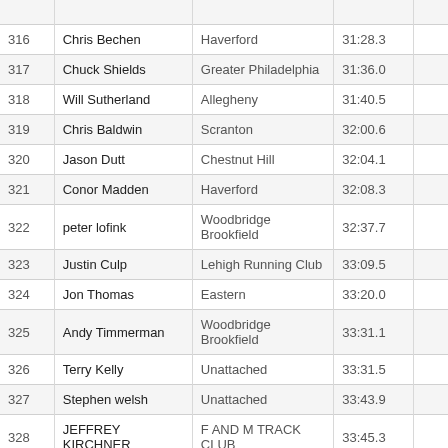| # | Name | Club | Time |  |
| --- | --- | --- | --- | --- |
| 316 | Chris Bechen | Haverford | 31:28.3 |  |
| 317 | Chuck Shields | Greater Philadelphia | 31:36.0 |  |
| 318 | Will Sutherland | Allegheny | 31:40.5 |  |
| 319 | Chris Baldwin | Scranton | 32:00.6 |  |
| 320 | Jason Dutt | Chestnut Hill | 32:04.1 |  |
| 321 | Conor Madden | Haverford | 32:08.3 |  |
| 322 | peter lofink | Woodbridge Brookfield | 32:37.7 |  |
| 323 | Justin Culp | Lehigh Running Club | 33:09.5 |  |
| 324 | Jon Thomas | Eastern | 33:20.0 |  |
| 325 | Andy Timmerman | Woodbridge Brookfield | 33:31.1 |  |
| 326 | Terry Kelly | Unattached | 33:31.5 |  |
| 327 | Stephen welsh | Unattached | 33:43.9 |  |
| 328 | JEFFREY KIRCHNER | F AND M TRACK CLUB | 33:45.3 |  |